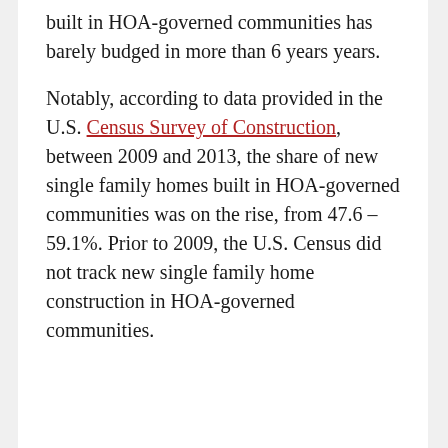built in HOA-governed communities has barely budged in more than 6 years years.
Notably, according to data provided in the U.S. Census Survey of Construction, between 2009 and 2013, the share of new single family homes built in HOA-governed communities was on the rise, from 47.6 – 59.1%. Prior to 2009, the U.S. Census did not track new single family home construction in HOA-governed communities.